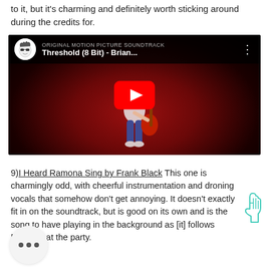to it, but it's charming and definitely worth sticking around during the credits for.
[Figure (screenshot): YouTube video embed showing 'Threshold (8 Bit) - Brian...' with a cartoon character playing guitar on a red background. A YouTube play button is centered on the video.]
9) I Heard Ramona Sing by Frank Black This one is charmingly odd, with cheerful instrumentation and droning vocals that somehow don't get annoying. It doesn't exactly fit in on the soundtrack, but is good on its own and is the song to have playing in the background as [it] follows Ramona at the party.